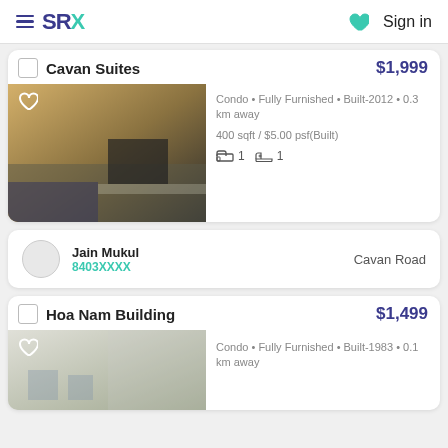SRX  Sign in
Cavan Suites  $1,999
Condo • Fully Furnished • Built-2012 • 0.3 km away
400 sqft / $5.00 psf(Built)
Bedroom: 1  Bathroom: 1
Jain Mukul
8403XXXX
Cavan Road
Hoa Nam Building  $1,499
Condo • Fully Furnished • Built-1983 • 0.1 km away